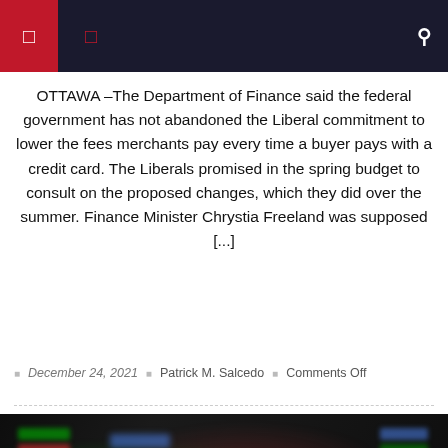Navigation bar with menu icons and search
OTTAWA –The Department of Finance said the federal government has not abandoned the Liberal commitment to lower the fees merchants pay every time a buyer pays with a credit card. The Liberals promised in the spring budget to consult on the proposed changes, which they did over the summer. Finance Minister Chrystia Freeland was supposed [...]
December 24, 2021   Patrick M. Salcedo   Comments Off
[Figure (photo): Blurred stock market screen showing green and red ticker data on dark background with a red circular button in the bottom right]